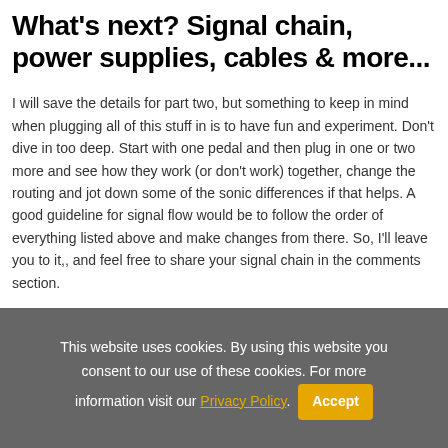What's next? Signal chain, power supplies, cables & more...
I will save the details for part two, but something to keep in mind when plugging all of this stuff in is to have fun and experiment. Don't dive in too deep. Start with one pedal and then plug in one or two more and see how they work (or don't work) together, change the routing and jot down some of the sonic differences if that helps. A good guideline for signal flow would be to follow the order of everything listed above and make changes from there. So, I'll leave you to it,, and feel free to share your signal chain in the comments section.
This website uses cookies. By using this website you consent to our use of these cookies. For more information visit our Privacy Policy. Accept